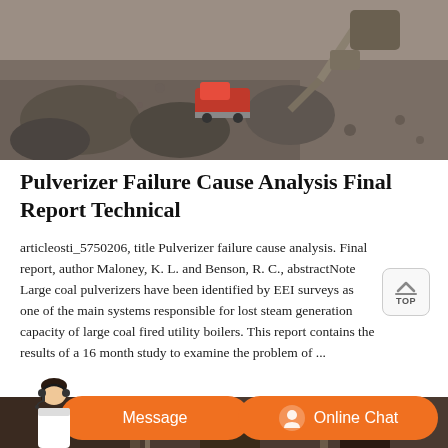[Figure (photo): Aerial photo of a mining excavation site with heavy machinery including a red truck and excavator on rocky terrain]
Pulverizer Failure Cause Analysis Final Report Technical
articleosti_5750206, title Pulverizer failure cause analysis. Final report, author Maloney, K. L. and Benson, R. C., abstractNote Large coal pulverizers have been identified by EEI surveys as one of the main systems responsible for lost steam generation capacity of large coal fired utility boilers. This report contains the results of a 16 month study to examine the problem of ...
[Figure (photo): Industrial/factory setting with machinery and equipment, partially visible]
[Figure (other): Chat interface bar with Message button and Online Chat button in orange, with customer service representative image]